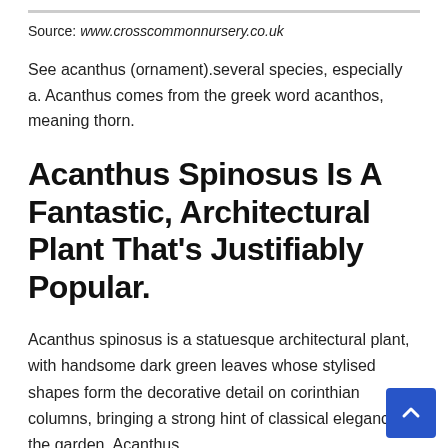Source: www.crosscommonnursery.co.uk
See acanthus (ornament).several species, especially a. Acanthus comes from the greek word acanthos, meaning thorn.
Acanthus Spinosus Is A Fantastic, Architectural Plant That's Justifiably Popular.
Acanthus spinosus is a statuesque architectural plant, with handsome dark green leaves whose stylised shapes form the decorative detail on corinthian columns, bringing a strong hint of classical elegance to the garden. Acanthus